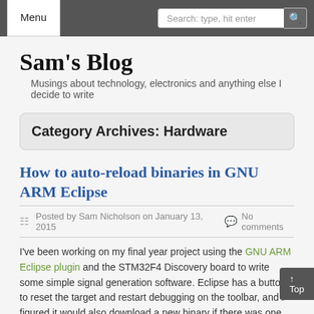Menu | Search: type, hit enter
Sam's Blog
Musings about technology, electronics and anything else I decide to write
Category Archives: Hardware
How to auto-reload binaries in GNU ARM Eclipse
Posted by Sam Nicholson on January 13, 2015   No comments
I've been working on my final year project using the GNU ARM Eclipse plugin and the STM32F4 Discovery board to write some simple signal generation software. Eclipse has a button to reset the target and restart debugging on the toolbar, and I figured it would also download a new binary if there was one. Unfortunately it